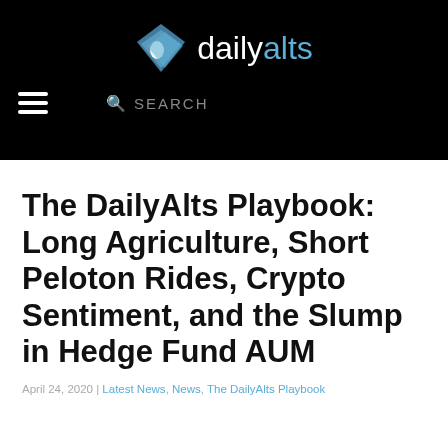[Figure (logo): DailyAlts logo: blue diamond/kite shape icon with 'daily' in white and 'alts' in light blue, on black background]
The DailyAlts Playbook: Long Agriculture, Short Peloton Rides, Crypto Sentiment, and the Slump in Hedge Fund AUM
April 24, 2020 | Latest News, News, The DailyAlts Playbook